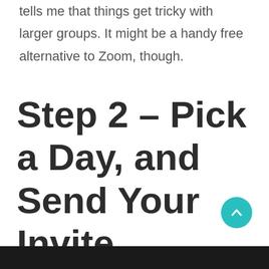tells me that things get tricky with larger groups. It might be a handy free alternative to Zoom, though.
Step 2 – Pick a Day, and Send Your Invite